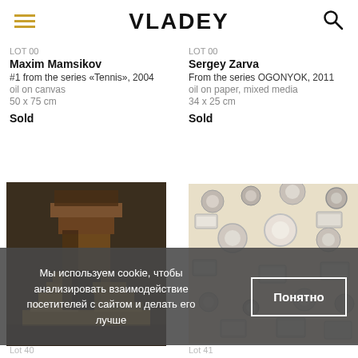VLADEY
Maxim Mamsikov
#1 from the series «Tennis», 2004
oil on canvas
50 x 75 cm
Sold
Sergey Zarva
From the series OGONYOK, 2011
oil on paper, mixed media
34 x 25 cm
Sold
[Figure (photo): Painting of an architectural staircase/tower structure with geometric brick forms in warm brown and golden tones]
[Figure (photo): Overhead photo of air conditioning units and circular objects scattered on a beige/cream surface, pattern-like composition]
Мы используем cookie, чтобы анализировать взаимодействие посетителей с сайтом и делать его лучше
Понятно